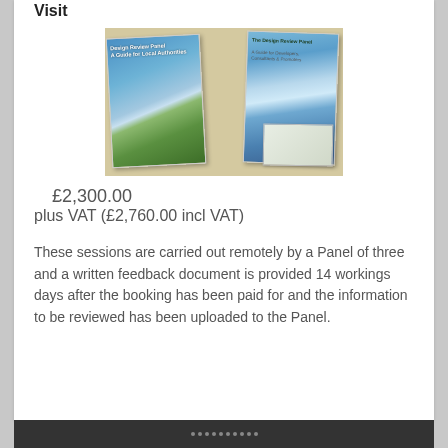Visit
[Figure (photo): Photo showing two Design Review Panel brochures/guides fanned out on a table — one titled for Local Authorities and another titled 'The Design Review Panel: A Guide for Developers, Consultants & Promoters', alongside a small card.]
£2,300.00
plus VAT (£2,760.00 incl VAT)
These sessions are carried out remotely by a Panel of three and a written feedback document is provided 14 workings days after the booking has been paid for and the information to be reviewed has been uploaded to the Panel.